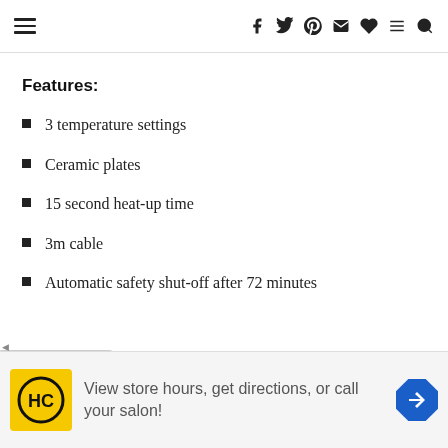Navigation bar with hamburger menu and social/share icons
Features:
3 temperature settings
Ceramic plates
15 second heat-up time
3m cable
Automatic safety shut-off after 72 minutes
[Figure (other): Advertisement banner: HC logo, text 'View store hours, get directions, or call your salon!', navigation arrow icon]